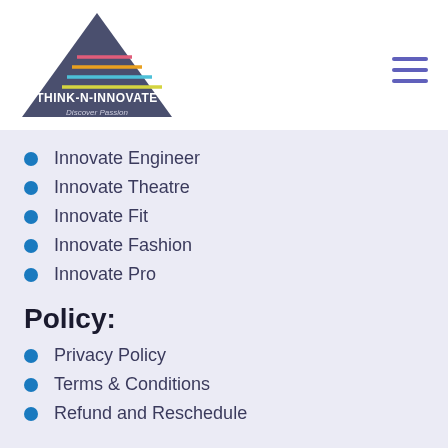[Figure (logo): Think-N-Innovate logo with triangle shape and colorful horizontal lines, text: THINK-N-INNOVATE Discover Passion]
Innovate Engineer
Innovate Theatre
Innovate Fit
Innovate Fashion
Innovate Pro
Policy:
Privacy Policy
Terms & Conditions
Refund and Reschedule